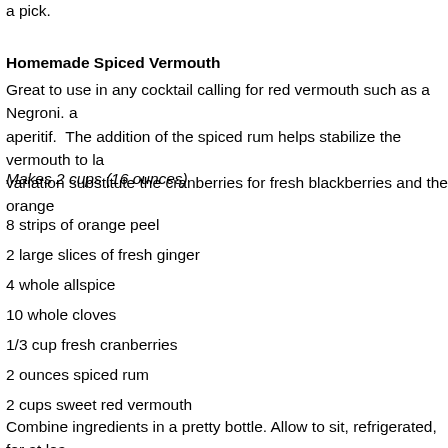a pick.
Homemade Spiced Vermouth
Great to use in any cocktail calling for red vermouth such as a Negroni. aperitif.  The addition of the spiced rum helps stabilize the vermouth to la variation substitute the cranberries for fresh blackberries and the orange
Makes 2 cups (16 ounces)
8 strips of orange peel
2 large slices of fresh ginger
4 whole allspice
10 whole cloves
1/3 cup fresh cranberries
2 ounces spiced rum
2 cups sweet red vermouth
Combine ingredients in a pretty bottle. Allow to sit, refrigerated, for at lea Store refrigerated for up to a month. Flavors will intensify, strain if desire